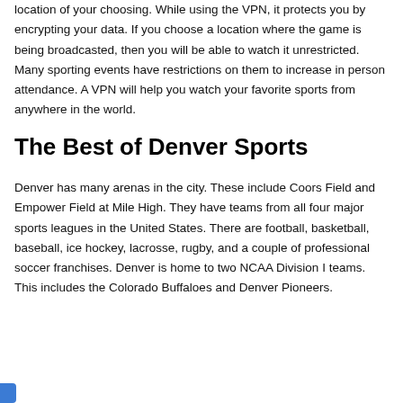location of your choosing. While using the VPN, it protects you by encrypting your data. If you choose a location where the game is being broadcasted, then you will be able to watch it unrestricted. Many sporting events have restrictions on them to increase in person attendance. A VPN will help you watch your favorite sports from anywhere in the world.
The Best of Denver Sports
Denver has many arenas in the city. These include Coors Field and Empower Field at Mile High. They have teams from all four major sports leagues in the United States. There are football, basketball, baseball, ice hockey, lacrosse, rugby, and a couple of professional soccer franchises. Denver is home to two NCAA Division I teams. This includes the Colorado Buffaloes and Denver Pioneers.